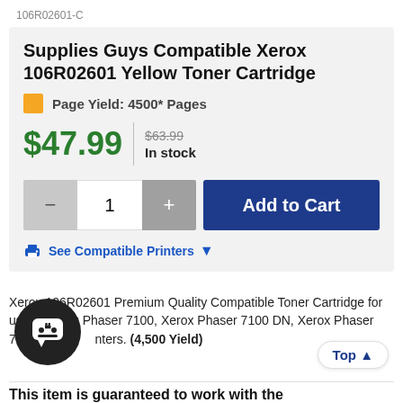106R02601-C
Supplies Guys Compatible Xerox 106R02601 Yellow Toner Cartridge
Page Yield: 4500* Pages
$47.99  $63.99  In stock
1  Add to Cart
See Compatible Printers
Xerox 106R02601 Premium Quality Compatible Toner Cartridge for use in Xerox Phaser 7100, Xerox Phaser 7100 DN, Xerox Phaser 7100 printers. (4,500 Yield)
This item is guaranteed to work with the